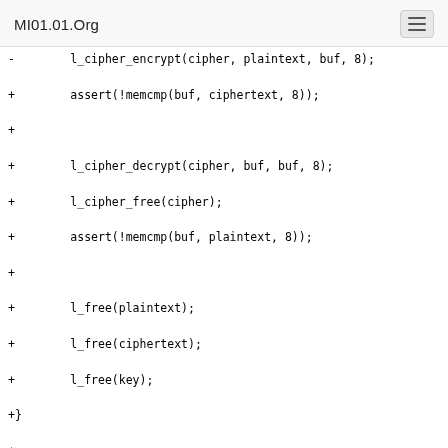MI01.01.Org
Code diff showing C source additions including l_cipher_decrypt, l_cipher_free, assert, l_free calls, function main signature, l_test_init, @@ hunk header, l_test_add calls, and closing brace.